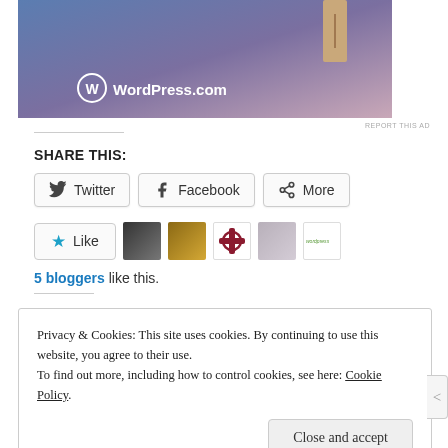[Figure (photo): WordPress.com advertisement banner with blue-purple gradient background, wooden door element, and WordPress logo with text 'WordPress.com']
REPORT THIS AD
SHARE THIS:
Twitter  Facebook  More
Like  [blogger avatars]  5 bloggers like this.
Privacy & Cookies: This site uses cookies. By continuing to use this website, you agree to their use. To find out more, including how to control cookies, see here: Cookie Policy  Close and accept